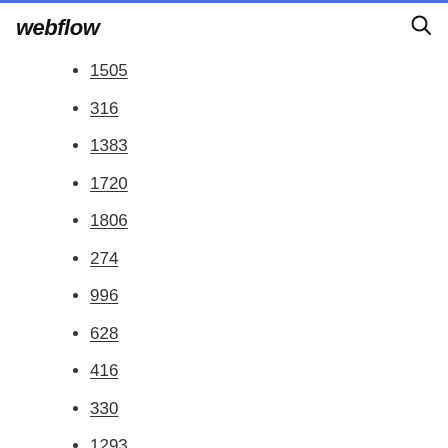webflow
1505
316
1383
1720
1806
274
996
628
416
330
1293
960